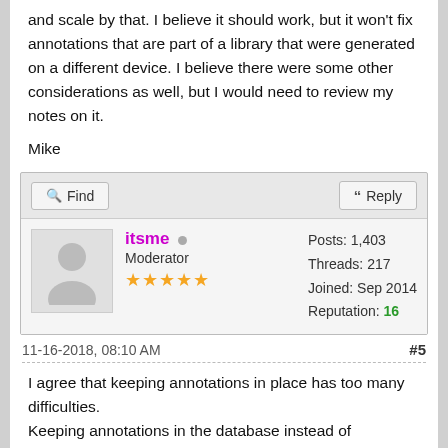and scale by that. I believe it should work, but it won't fix annotations that are part of a library that were generated on a different device. I believe there were some other considerations as well, but I would need to review my notes on it.
Mike
Find
Reply
itsme  Moderator ★★★★★
Posts: 1,403  Threads: 217  Joined: Sep 2014  Reputation: 16
11-16-2018, 08:10 AM
#5
I agree that keeping annotations in place has too many difficulties.
Keeping annotations in the database instead of discarding them seems OK for me, but the user should know about it and should be able to delete or move these annotations.